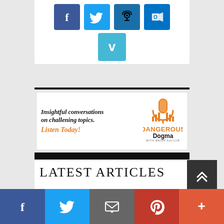[Figure (infographic): Social media icon buttons: Facebook (blue), Twitter (blue), Podcast (darker blue), Outlook (blue), and Vimeo (light blue) arranged in two rows on white background]
[Figure (infographic): Advertisement banner for Dangerous Dogma podcast with Brian Kaylor. Text reads: Insightful conversations on challening topics. Listen Today! with orange Dangerous Dogma logo and microphone icon.]
LATEST ARTICLES
[Figure (infographic): Bottom social share bar with Facebook, Twitter, Email, Pinterest, and More buttons]
[Figure (infographic): Back to top button (dark grey with double chevron up)]